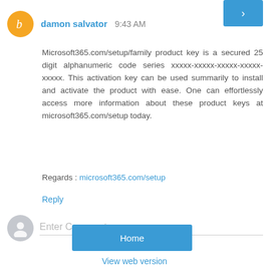damon salvator  9:43 AM
Microsoft365.com/setup/family product key is a secured 25 digit alphanumeric code series xxxxx-xxxxx-xxxxx-xxxxx-xxxxx. This activation key can be used summarily to install and activate the product with ease. One can effortlessly access more information about these product keys at microsoft365.com/setup today.
Regards : microsoft365.com/setup
Reply
Enter Comment
Home
›
View web version